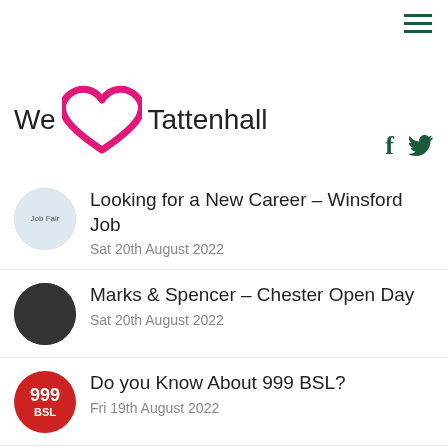We [heart] Tattenhall
Looking for a New Career – Winsford Job
Sat 20th August 2022
Marks & Spencer – Chester Open Day
Sat 20th August 2022
Do you Know About 999 BSL?
Fri 19th August 2022
A Celebration of the Spinney
Fri 19th August 2022
Results Bolesworth Young Horse C'ship
Thu 18th August 2022